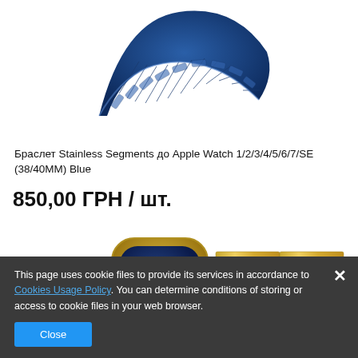[Figure (photo): Blue stainless steel segment watch band for Apple Watch, shown curved on white background]
Браслет Stainless Segments до Apple Watch 1/2/3/4/5/6/7/SE (38/40ММ) Blue
850,00 ГРН / шт.
[Figure (photo): Gold Apple Watch with stainless segment gold band, showing watch face with time 3:6]
This page uses cookie files to provide its services in accordance to Cookies Usage Policy. You can determine conditions of storing or access to cookie files in your web browser.
Close